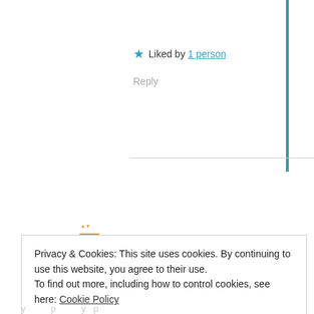★ Liked by 1 person
Reply
[Figure (logo): Orange pixelated/QR-style avatar icon]
Privacy & Cookies: This site uses cookies. By continuing to use this website, you agree to their use.
To find out more, including how to control cookies, see here: Cookie Policy
Close and accept